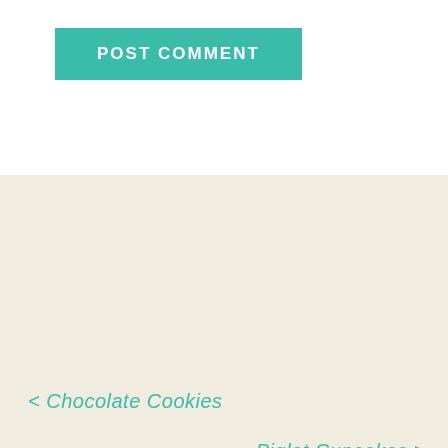POST COMMENT
< Chocolate Cookies
Piglet Cupcakes >
[Figure (logo): Spanish Recipes by Nana logo with decorative script text and ornamental divider]
A WEBSITE BY KINGS OF MAMBO